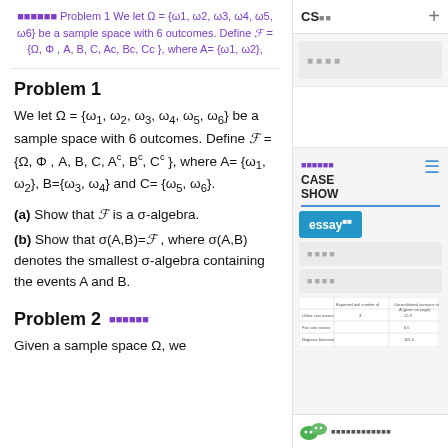Problem 1 We let Ω = {ω1, ω2, ω3, ω4, ω5, ω6} be a sample space with 6 outcomes. Define ℱ = {Ω, Φ , A, B, C, Ac, Bc, Cc }, where A= {ω1, ω2},
Problem 1
We let Ω = {ω₁, ω₂, ω₃, ω₄, ω₅, ω₆} be a sample space with 6 outcomes. Define ℱ = {Ω, Φ , A, B, C, Aᶜ, Bᶜ, Cᶜ }, where A= {ω₁, ω₂}, B={ω₃, ω₄} and C= {ω₅, ω₆}.
(a) Show that ℱ is a σ-algebra.
(b) Show that σ(A,B)=ℱ , where σ(A,B) denotes the smallest σ-algebra containing the events A and B.
Problem 2
Given a sample space Ω, we